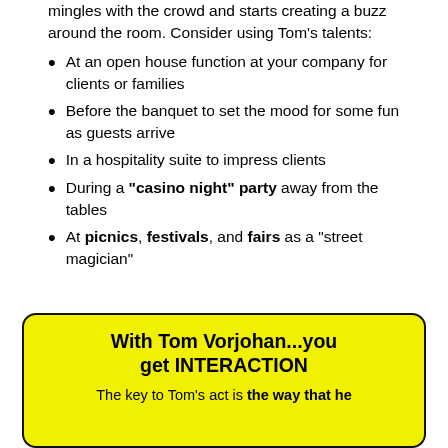mingles with the crowd and starts creating a buzz around the room.  Consider using Tom's talents:
At an open house function at your company for clients or families
Before the banquet to set the mood for some fun as guests arrive
In a hospitality suite to impress clients
During a "casino night" party away from the tables
At picnics, festivals, and fairs as a "street magician"
With Tom Vorjohan...you get INTERACTION
The key to Tom's act is the way that he